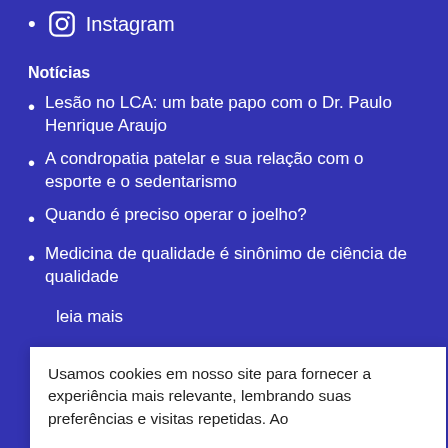Instagram
Notícias
Lesão no LCA: um bate papo com o Dr. Paulo Henrique Araujo
A condropatia patelar e sua relação com o esporte e o sedentarismo
Quando é preciso operar o joelho?
Medicina de qualidade é sinônimo de ciência de qualidade
leia mais
Usamos cookies em nosso site para fornecer a experiência mais relevante, lembrando suas preferências e visitas repetidas. Ao